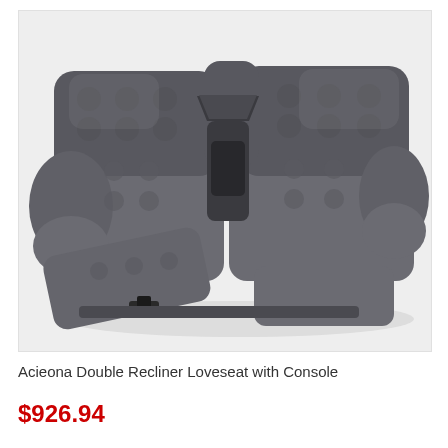[Figure (photo): A dark charcoal gray double recliner loveseat with center console, shown with left recliner extended open, photographed against a light gray/white background. The furniture has tufted fabric upholstery with plush cushioning.]
Acieona Double Recliner Loveseat with Console
$926.94